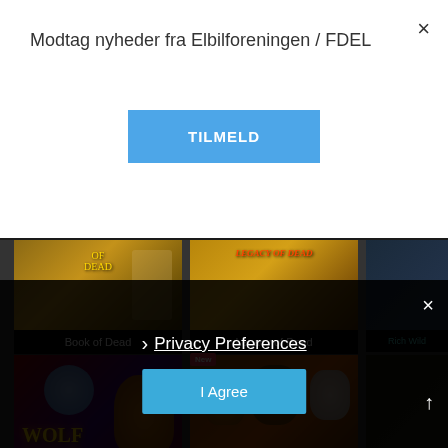Modtag nyheder fra Elbilforeningen / FDEL
TILMELD
[Figure (screenshot): Casino game grid showing game cards: Book of Dead, Legacy of Dead, Rich Wild (partially visible), Wolf Gold, Buffalo 50 (with New badge), and partially visible third column game cards.]
Book of Dead
Legacy of Dead
Rich Wild
Wolf Gold
Buffalo 50
Privacy Preferences
I Agree